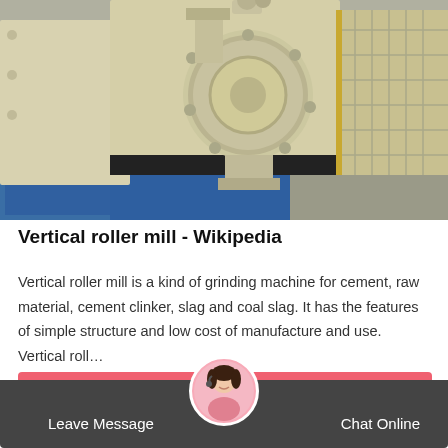[Figure (photo): Close-up photograph of a vertical roller mill machine, painted cream/beige and blue, showing a circular inspection door/port on the side of a large industrial grinding machine]
Vertical roller mill - Wikipedia
Vertical roller mill is a kind of grinding machine for cement, raw material, cement clinker, slag and coal slag. It has the features of simple structure and low cost of manufacture and use. Vertical roll…
Get Price
Leave Message
Chat Online